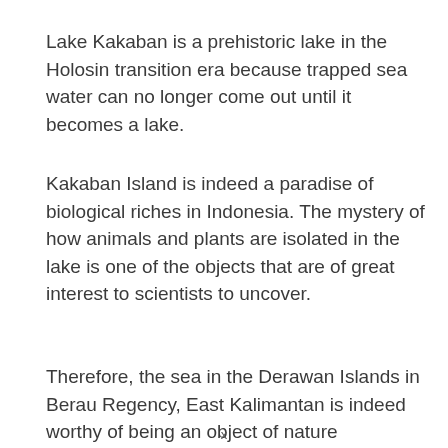Lake Kakaban is a prehistoric lake in the Holosin transition era because trapped sea water can no longer come out until it becomes a lake.
Kakaban Island is indeed a paradise of biological riches in Indonesia. The mystery of how animals and plants are isolated in the lake is one of the objects that are of great interest to scientists to uncover.
Therefore, the sea in the Derawan Islands in Berau Regency, East Kalimantan is indeed worthy of being an object of nature conservation that should be protected and preserved. (*)
x